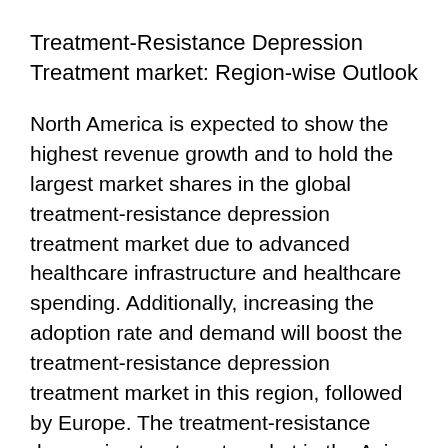Treatment-Resistance Depression Treatment market: Region-wise Outlook
North America is expected to show the highest revenue growth and to hold the largest market shares in the global treatment-resistance depression treatment market due to advanced healthcare infrastructure and healthcare spending. Additionally, increasing the adoption rate and demand will boost the treatment-resistance depression treatment market in this region, followed by Europe. The treatment-resistance depression treatment market in the Asia-Pacific region is expected to register the moderate growth due to low acceptance and high negligence rate for mental